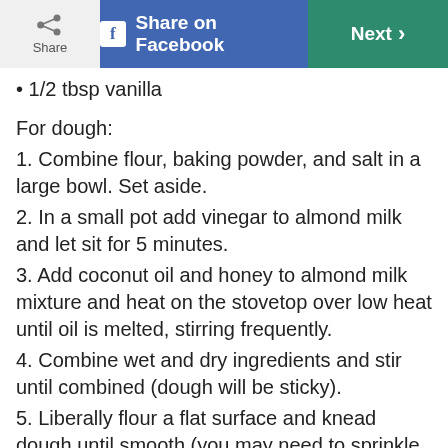Share | Share on Facebook | Next
• 1/2 tbsp vanilla
For dough:
1. Combine flour, baking powder, and salt in a large bowl. Set aside.
2. In a small pot add vinegar to almond milk and let sit for 5 minutes.
3. Add coconut oil and honey to almond milk mixture and heat on the stovetop over low heat until oil is melted, stirring frequently.
4. Combine wet and dry ingredients and stir until combined (dough will be sticky).
5. Liberally flour a flat surface and knead dough until smooth (you may need to sprinkle some additional flour until dough can be rolled out).
6. Roll into a rectangle about 1/4 inch thick.